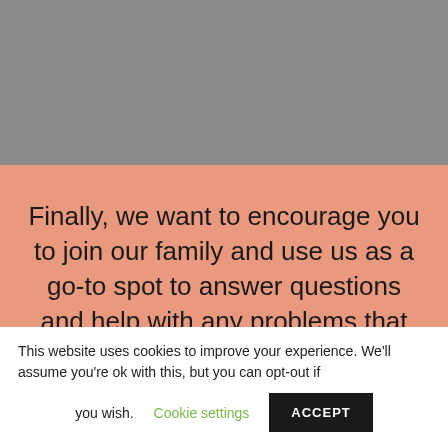[Figure (other): Gray background banner at the top of the page]
Finally, we want to encourage you to join our family and use us as a go-to spot to answer questions and help with any problems that may pop up during the entire life of your pet.
This website uses cookies to improve your experience. We'll assume you're ok with this, but you can opt-out if you wish. Cookie settings ACCEPT